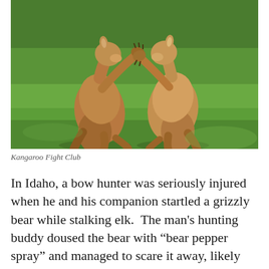[Figure (photo): Two kangaroos standing upright facing each other with front paws raised, appearing to box or fight, with a green grassy background.]
Kangaroo Fight Club
In Idaho, a bow hunter was seriously injured when he and his companion startled a grizzly bear while stalking elk. The man's hunting buddy doused the bear with "bear pepper spray" and managed to scare it away, likely saving his friend's life. Okay. So you mean to tell me these dumbasses experienced hunters